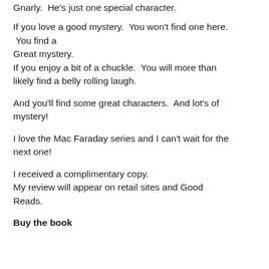Gnarly.  He's just one special character.
If you love a good mystery.  You won't find one here.  You find a
Great mystery.
If you enjoy a bit of a chuckle.  You will more than likely find a belly rolling laugh.
And you'll find some great characters.  And lot's of mystery!
I love the Mac Faraday series and I can't wait for the next one!
I received a complimentary copy.
My review will appear on retail sites and Good Reads.
Buy the book